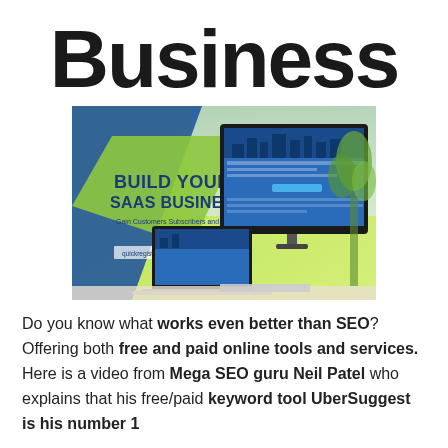Business
[Figure (illustration): Promotional banner for building a SaaS business showing desktop and laptop computers displaying a website. Text reads: BUILD YOUR SAAS BUSINESS - Gain Customers Subscribers and TRAFFIC! - quickregisterseo.com]
Do you know what works even better than SEO? Offering both free and paid online tools and services. Here is a video from Mega SEO guru Neil Patel who explains that his free/paid keyword tool UberSuggest is his number 1 traffic source! And this experience of the